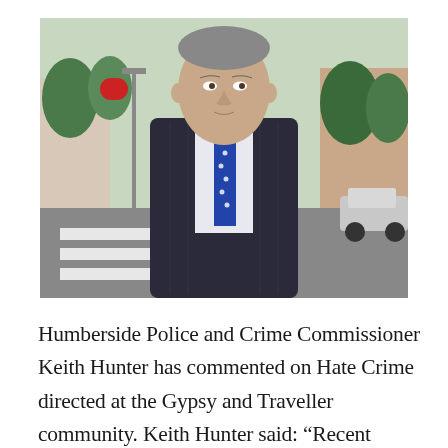[Figure (photo): A middle-aged man in a dark pinstripe suit with a blue dotted tie, standing outdoors on a street with trees and buildings in the background. He appears to be a police or government official.]
Humberside Police and Crime Commissioner Keith Hunter has commented on Hate Crime directed at the Gypsy and Traveller community. Keith Hunter said: “Recent articles in the local media highlight the fact that we are